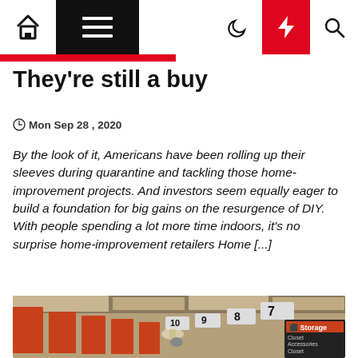Navigation bar with home, menu, dark mode, lightning, and search icons
They're still a buy
Mon Sep 28, 2020
By the look of it, Americans have been rolling up their sleeves during quarantine and tackling those home-improvement projects. And investors seem equally eager to build a foundation for big gains on the resurgence of DIY. With people spending a lot more time indoors, it's no surprise home-improvement retailers Home [...]
[Figure (photo): Interior of a Home Depot store showing aisle ceiling with orange signs numbered 7, 8, 9, 10, and a Storage section sign with Closet Accessories and Closet Organization subsections visible on the right.]